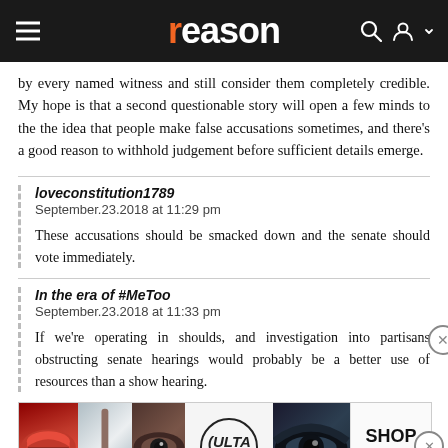reason
by every named witness and still consider them completely credible. My hope is that a second questionable story will open a few minds to the the idea that people make false accusations sometimes, and there's a good reason to withhold judgement before sufficient details emerge.
loveconstitution1789
September.23.2018 at 11:29 pm
These accusations should be smacked down and the senate should vote immediately.
In the era of #MeToo
September.23.2018 at 11:33 pm
If we're operating in shoulds, and investigation into partisans obstructing senate hearings would probably be a better use of resources than a show hearing.
[Figure (advertisement): ULTA Beauty advertisement banner with cosmetics imagery showing lips, makeup brush, eye makeup, ULTA logo, and 'SHOP NOW' call to action]
Jeff Sessions will get right on it.